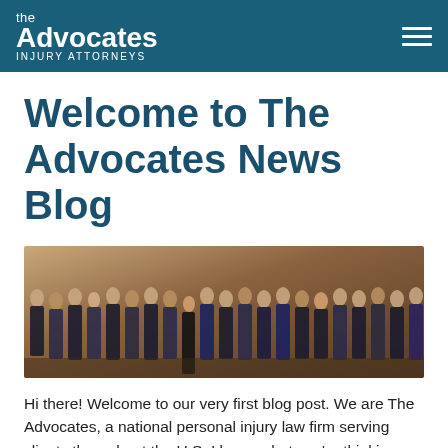the Advocates INJURY ATTORNEYS
Welcome to The Advocates News Blog
[Figure (photo): Group photo of The Advocates law firm attorneys in formal business attire, standing together in front of a brown/tan studio backdrop.]
Hi there! Welcome to our very first blog post. We are The Advocates, a national personal injury law firm serving clients throughout the U.S. I know what you're thinking. What kind of information can I find on a personal injury